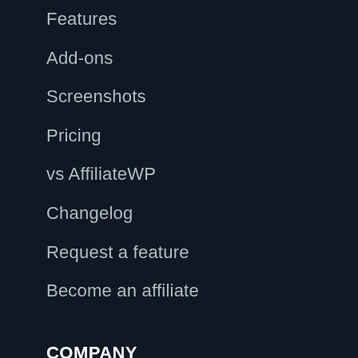Features
Add-ons
Screenshots
Pricing
vs AffiliateWP
Changelog
Request a feature
Become an affiliate
COMPANY
Our mission
Contact us
Follow us on Twitter
RESOURCES